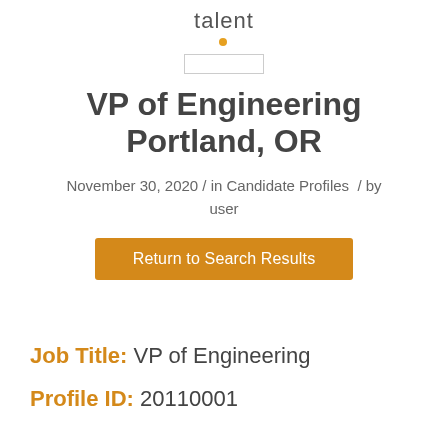[Figure (logo): talent logo with orange dot and rectangular border outline]
VP of Engineering
Portland, OR
November 30, 2020 / in Candidate Profiles  / by user
Return to Search Results
Job Title: VP of Engineering
Profile ID: 20110001